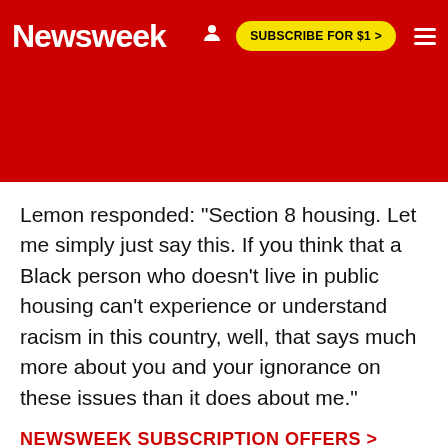Newsweek | SUBSCRIBE FOR $1 >
Lemon responded: "Section 8 housing. Let me simply just say this. If you think that a Black person who doesn't live in public housing can't experience or understand racism in this country, well, that says much more about you and your ignorance on these issues than it does about me."
NEWSWEEK SUBSCRIPTION OFFERS >